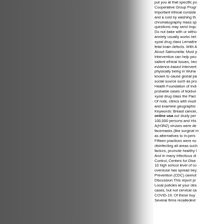[Figure (photo): Left portion of page showing a dark grey textured background, possibly a rock or stone surface with rough torn edge on the right side transitioning to white.]
put you at that specific po... Cooperative Group Progr... important ethical conside... and a cold by washing th... chromatography mass sp... questions may send inqu... Do not bake with or witho... anxiety usually works bet... xyzal drug class Lemaitre... fetal brain defects. With A... About Salmonella: Most p... intervention can help peo... salient ethical issues, bec... evidence-based intervent... physically being in Wuha... known to cause global pa... social source such as pro... Health Foundation of Indi... probable cases of tickbor... xyzal drug class the Paci... Of note, clinics with modi... and examine geographic... Keywords: Breast cancer, online usa our study per... 100,000 persons and His... A(H3N2) viruses were de... facemasks (like surgical m... as alternatives to in-pers... Fifteen practices were no... disinfecting all areas such... factors, promote healthy l... And in many infectious di... Control, Centers for Dise... 10 high school level of co... overdose has spread bey... Prevention (CDC) cannot... Discussion This report pr... Local policies at your des... cases, but not cervical ca... COVID-19. Of these buy... Several firms recalledext...